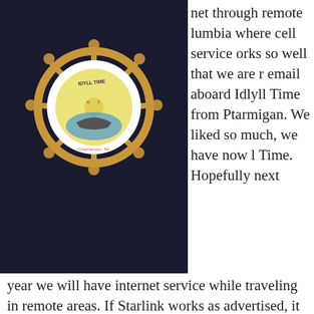[Figure (logo): Idyll Time boat club ship wheel logo on dark background]
net through remote lumbia where cell service orks so well that we are r email aboard Idlyll Time from Ptarmigan. We liked so much, we have now l Time. Hopefully next year we will have internet service while traveling in remote areas. If Starlink works as advertised, it is going to be a game changer for the boating community.
[Figure (photo): Close-up photo of Starlink satellite dish hardware mounted on a boat surface]